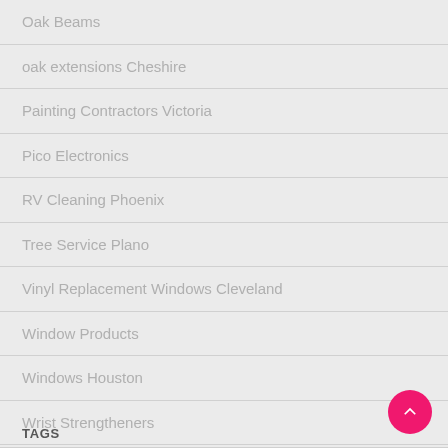Oak Beams
oak extensions Cheshire
Painting Contractors Victoria
Pico Electronics
RV Cleaning Phoenix
Tree Service Plano
Vinyl Replacement Windows Cleveland
Window Products
Windows Houston
Wrist Strengtheners
TAGS